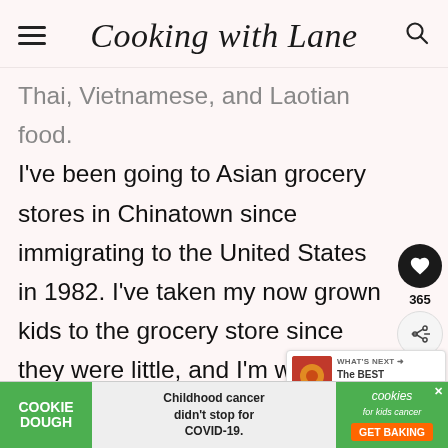Cooking with Lane
Thai, Vietnamese, and Laotian food. I've been going to Asian grocery stores in Chinatown since immigrating to the United States in 1982. I've taken my now grown kids to the grocery store since they were little, and I'm writing this post to share with them Grandma's f[avorite] brands so when they get old enough
[Figure (screenshot): WHAT'S NEXT arrow, The BEST Asian Snack... thumbnail overlay]
[Figure (screenshot): Cookie Dough / cookies for kids cancer advertisement bar at bottom: 'Childhood cancer didn't stop for COVID-19.' GET BAKING]